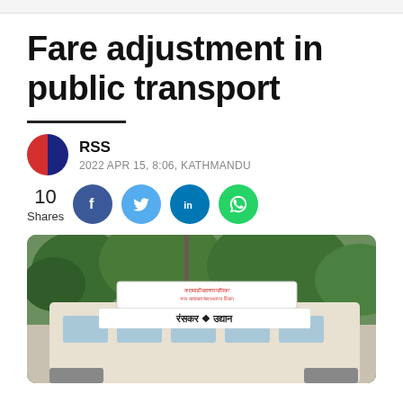Fare adjustment in public transport
RSS
2022 APR 15, 8:06, KATHMANDU
10 Shares
[Figure (photo): A public transport bus in Kathmandu with a sign in Nepali text. Green trees are visible in the background. The bus has a white sign board on top with Nepali text reading Kathmandu Metropolitan City transport department.]